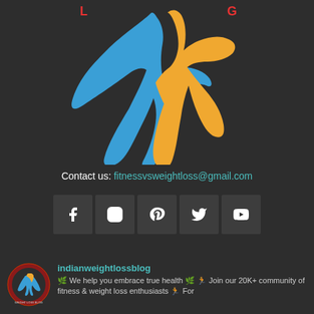[Figure (logo): Fitness vs Weight Loss blog logo — two stylized human figures in blue and orange/gold dancing or jumping, with red text above]
Contact us: fitnessvsweightloss@gmail.com
[Figure (infographic): Row of five social media icons: Facebook, Instagram, Pinterest, Twitter, YouTube — white icons on dark grey square backgrounds]
[Figure (logo): indianweightlossblog small circular logo with figure]
indianweightlossblog
🌿 We help you embrace true health 🌿 🏃 Join our 20K+ community of fitness & weight loss enthusiasts 🏃 For